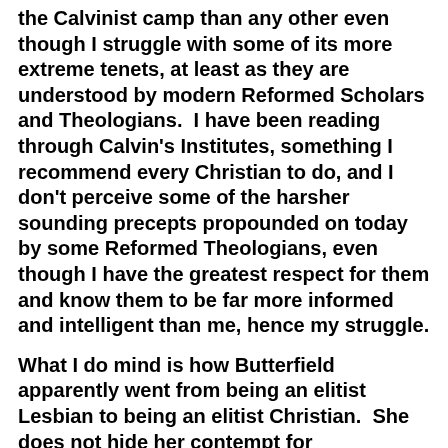the Calvinist camp than any other even though I struggle with some of its more extreme tenets, at least as they are understood by modern Reformed Scholars and Theologians.  I have been reading through Calvin's Institutes, something I recommend every Christian to do, and I don't perceive some of the harsher sounding precepts propounded on today by some Reformed Theologians, even though I have the greatest respect for them and know them to be far more informed and intelligent than me, hence my struggle.
What I do mind is how Butterfield apparently went from being an elitist Lesbian to being an elitist Christian.  She does not hide her contempt for Conservative Christians making sweeping statements about them (us) about how we hate gays (untrue!) and worship in "Disneyland Churches" with some affluent and...